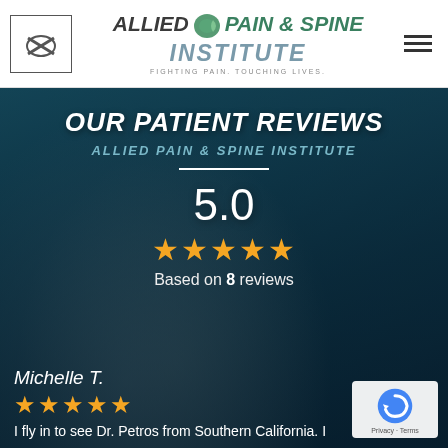[Figure (logo): Allied Pain & Spine Institute logo with tagline 'Fighting Pain. Touching Lives.']
[Figure (photo): Background photo of a couple (man and woman) standing together outdoors near the ocean, overlaid with dark teal color wash]
OUR PATIENT REVIEWS
ALLIED PAIN & SPINE INSTITUTE
5.0
★★★★★
Based on 8 reviews
Michelle T.
★★★★★
I fly in to see Dr. Petros from Southern California. I